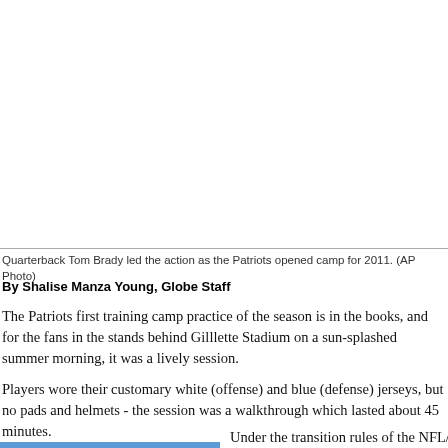[Figure (photo): Photograph of Patriots training camp practice 2011, quarterback Tom Brady in action at Gillette Stadium]
Quarterback Tom Brady led the action as the Patriots opened camp for 2011. (AP Photo)
By Shalise Manza Young, Globe Staff
The Patriots first training camp practice of the season is in the books, and for the fans in the stands behind Gilllette Stadium on a sun-splashed summer morning, it was a lively session.
Players wore their customary white (offense) and blue (defense) jerseys, but no pads and helmets - the session was a walkthrough which lasted about 45 minutes.
Under the transition rules of the NFL/N